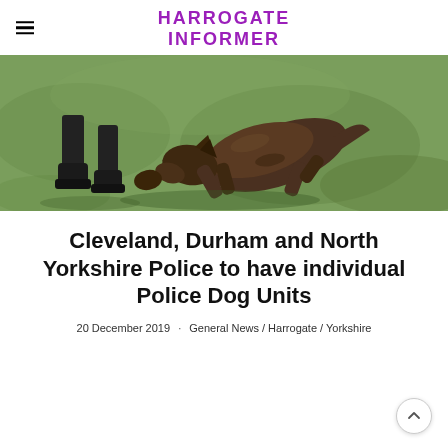HARROGATE INFORMER
[Figure (photo): A police dog (German Shepherd) attacking/grabbing a person's leg during a training or demonstration on a grass field. The image shows the dog mid-lunge, biting at the person's lower leg/boot area.]
Cleveland, Durham and North Yorkshire Police to have individual Police Dog Units
20 December 2019 · General News / Harrogate / Yorkshire